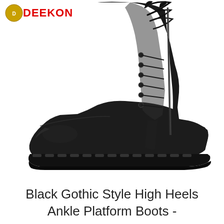[Figure (logo): DEEKON brand logo with red text and small emblem badge]
[Figure (photo): A tall black lace-up combat/military style boot with thick rubber sole, multiple eyelets and laces, photographed against a white background]
Black Gothic Style High Heels Ankle Platform Boots -